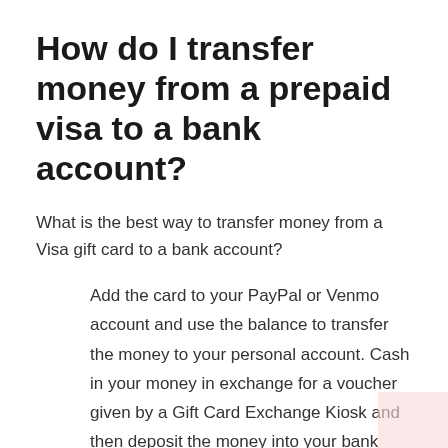How do I transfer money from a prepaid visa to a bank account?
What is the best way to transfer money from a Visa gift card to a bank account?
Add the card to your PayPal or Venmo account and use the balance to transfer the money to your personal account. Cash in your money in exchange for a voucher given by a Gift Card Exchange Kiosk and then deposit the money into your bank account